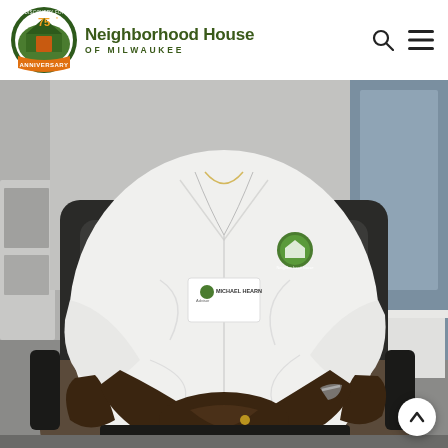[Figure (logo): Neighborhood House of Milwaukee 75th Anniversary logo — circular badge with green arch/house icon and orange banner reading ANNIVERSARY, next to text 'Neighborhood House OF MILWAUKEE' in dark green]
[Figure (photo): A person seated in an office chair wearing a white long-sleeve shirt with a Neighborhood House of Milwaukee logo on the chest and a name badge reading 'MICHAEL HEARN', with hands clasped in lap. Photo is cropped to show torso and hands, no face visible.]